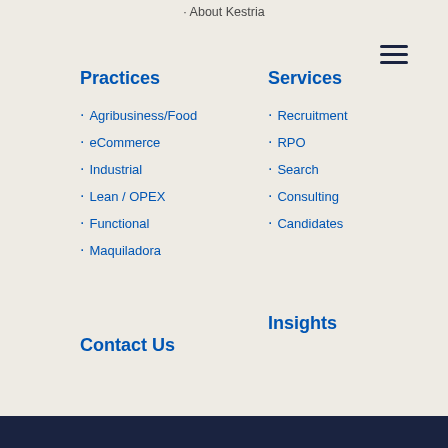About Kestria
Practices
Agribusiness/Food
eCommerce
Industrial
Lean / OPEX
Functional
Maquiladora
Services
Recruitment
RPO
Search
Consulting
Candidates
Insights
Contact Us